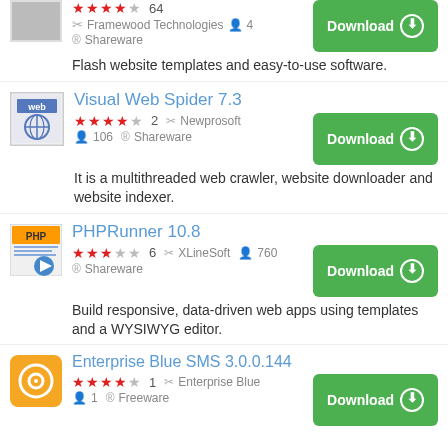[Figure (screenshot): Software listing page showing app icons and download buttons for various software products]
Flash website templates and easy-to-use software.
Visual Web Spider 7.3
★★★★☆ 2   Newprosoft
106   Shareware
It is a multithreaded web crawler, website downloader and website indexer.
PHPRunner 10.8
★★★☆☆ 6   XLineSoft   760
Shareware
Build responsive, data-driven web apps using templates and a WYSIWYG editor.
Enterprise Blue SMS 3.0.0.144
★★★★☆ 1   Enterprise Blue
1   Freeware